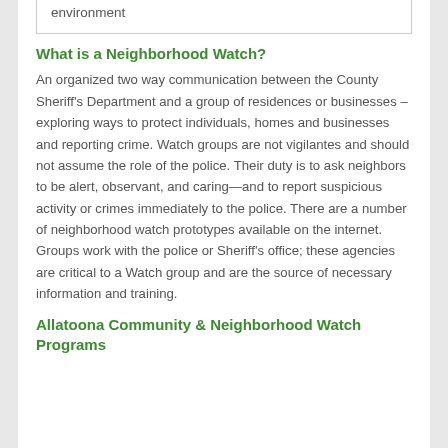environment
What is a Neighborhood Watch?
An organized two way communication between the County Sheriff's Department and a group of residences or businesses – exploring ways to protect individuals, homes and businesses and reporting crime. Watch groups are not vigilantes and should not assume the role of the police. Their duty is to ask neighbors to be alert, observant, and caring—and to report suspicious activity or crimes immediately to the police. There are a number of neighborhood watch prototypes available on the internet. Groups work with the police or Sheriff's office; these agencies are critical to a Watch group and are the source of necessary information and training.
Allatoona Community & Neighborhood Watch Programs